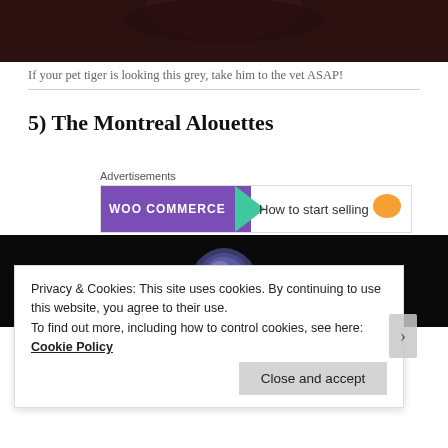[Figure (photo): Top of a dark-themed image, showing what appears to be a grey-toned animal (tiger) against a dark reddish-brown background]
If your pet tiger is looking this grey, take him to the vet ASAP!
5) The Montreal Alouettes
[Figure (other): WooCommerce advertisement banner: purple background with WooCommerce logo, green arrow shape, text 'How to start selling' and orange blob shape]
[Figure (photo): A shiny dark blue/purple football helmet against a black background, lit dramatically from above]
Privacy & Cookies: This site uses cookies. By continuing to use this website, you agree to their use.
To find out more, including how to control cookies, see here: Cookie Policy
Close and accept